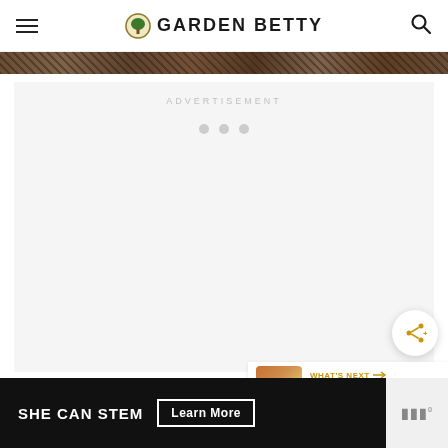GARDEN BETTY
[Figure (photo): Narrow horizontal strip showing mulch/garden material texture]
ADVERTISEMENT
[Figure (other): Share button with share icon (circle with plus)]
[Figure (other): What's Next widget showing thumbnail of drinks and text 'Easy Peasy Homemade...']
[Figure (other): Bottom banner advertisement: SHE CAN STEM with Learn More button and small logo]